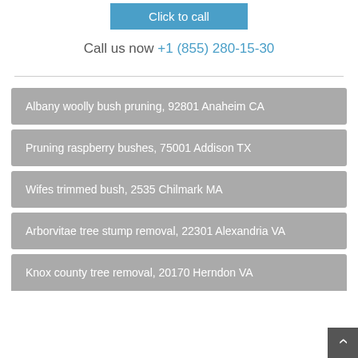Click to call
Call us now +1 (855) 280-15-30
Albany woolly bush pruning, 92801 Anaheim CA
Pruning raspberry bushes, 75001 Addison TX
Wifes trimmed bush, 2535 Chilmark MA
Arborvitae tree stump removal, 22301 Alexandria VA
Knox county tree removal, 20170 Herndon VA